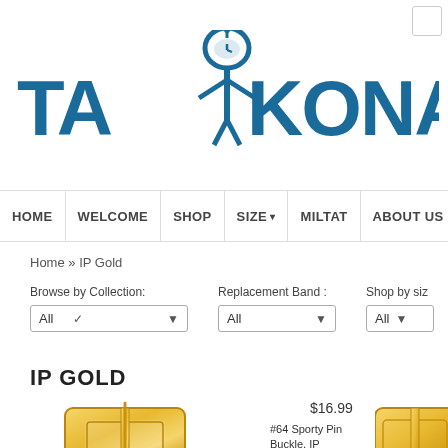[Figure (logo): Taikonaute brand logo in teal/dark blue — stylized robot/astronaut figure as the letter I, large bold text reading TAIKONAUT]
HOME | WELCOME | SHOP | SIZE | MILTAT | ABOUT US
Home » IP Gold
Browse by Collection:
Replacement Band :
Shop by size
IP GOLD
$16.99
[Figure (photo): Gold-colored watch pin buckle hardware, left product]
#64 Sporty Pin Buckle, IP Gold
[Figure (photo): Gold-colored watch pin buckle hardware, right product partially visible]